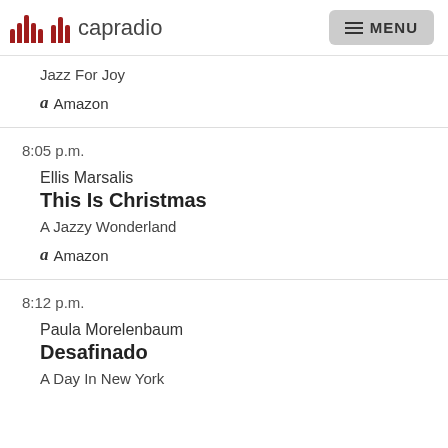capradio MENU
Jazz For Joy
Amazon
8:05 p.m.
Ellis Marsalis
This Is Christmas
A Jazzy Wonderland
Amazon
8:12 p.m.
Paula Morelenbaum
Desafinado
A Day In New York